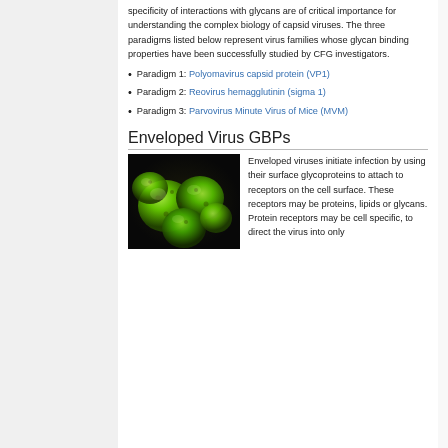specificity of interactions with glycans are of critical importance for understanding the complex biology of capsid viruses. The three paradigms listed below represent virus families whose glycan binding properties have been successfully studied by CFG investigators.
Paradigm 1: Polyomavirus capsid protein (VP1)
Paradigm 2: Reovirus hemagglutinin (sigma 1)
Paradigm 3: Parvovirus Minute Virus of Mice (MVM)
Enveloped Virus GBPs
[Figure (photo): Microscopy image of green enveloped virus particles clustered together, showing spherical shapes with surface glycoproteins visible.]
Enveloped viruses initiate infection by using their surface glycoproteins to attach to receptors on the cell surface. These receptors may be proteins, lipids or glycans. Protein receptors may be cell specific, to direct the virus into only